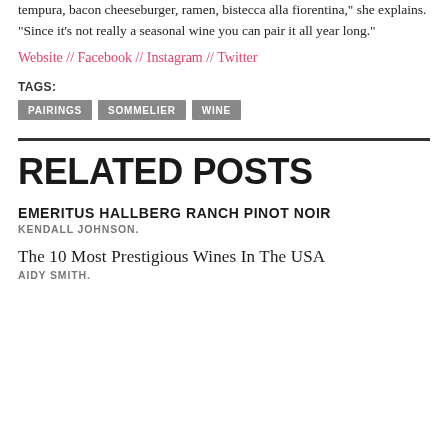tempura, bacon cheeseburger, ramen, bistecca alla fiorentina," she explains. "Since it’s not really a seasonal wine you can pair it all year long."
Website // Facebook // Instagram // Twitter
TAGS:
PAIRINGS
SOMMELIER
WINE
RELATED POSTS
EMERITUS HALLBERG RANCH PINOT NOIR
KENDALL JOHNSON.
The 10 Most Prestigious Wines In The USA
AIDY SMITH.